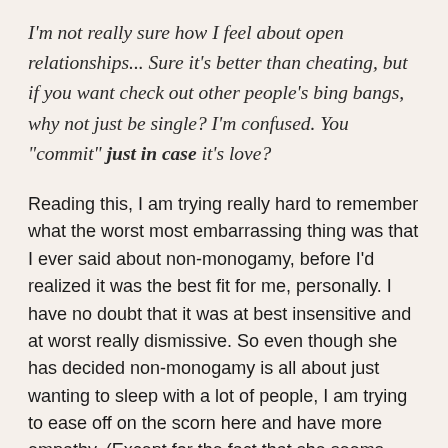I'm not really sure how I feel about open relationships... Sure it's better than cheating, but if you want check out other people's bing bangs, why not just be single? I'm confused. You "commit" just in case it's love?
Reading this, I am trying really hard to remember what the worst most embarrassing thing was that I ever said about non-monogamy, before I'd realized it was the best fit for me, personally. I have no doubt that it was at best insensitive and at worst really dismissive. So even though she has decided non-monogamy is all about just wanting to sleep with a lot of people, I am trying to ease off on the scorn here and have more empathy. (Except for the fact that she seems determined to make "bing bang" happen, for which I have no forgiveness in my heart.)